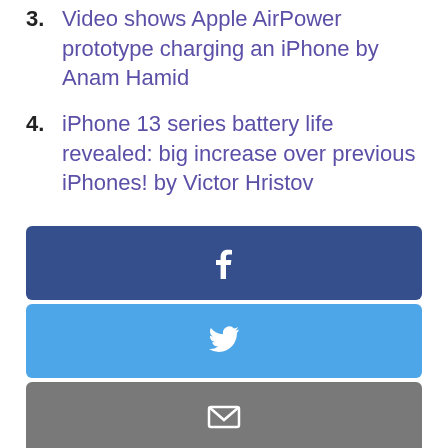3. Video shows Apple AirPower prototype charging an iPhone by Anam Hamid
4. iPhone 13 series battery life revealed: big increase over previous iPhones! by Victor Hristov
[Figure (infographic): Six social share buttons stacked vertically: Facebook (dark blue with f icon), Twitter (light blue with bird icon), Email (gray with envelope icon), WhatsApp (green with speech bubble icon), Reddit (red-orange with alien icon), Digg (dark blue with digg text)]